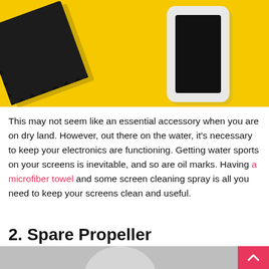[Figure (photo): Yellow background with a black microfiber cloth on the left and a white smartphone on the right]
This may not seem like an essential accessory when you are on dry land. However, out there on the water, it's necessary to keep your electronics are functioning. Getting water sports on your screens is inevitable, and so are oil marks. Having a microfiber towel and some screen cleaning spray is all you need to keep your screens clean and useful.
2. Spare Propeller
[Figure (photo): Partial bottom image, gray background, cropped]